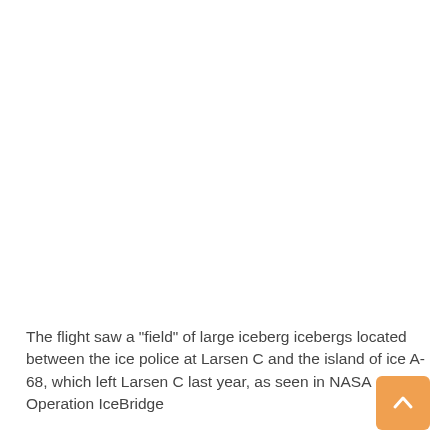The flight saw a "field" of large iceberg icebergs located between the ice police at Larsen C and the island of ice A-68, which left Larsen C last year, as seen in NASA Operation IceBridge